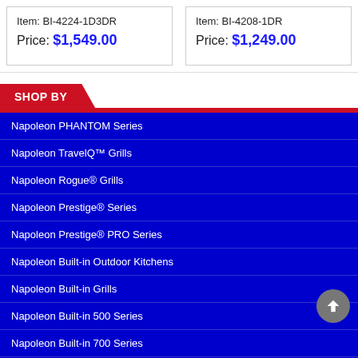Item: BI-4224-1D3DR
Price: $1,549.00
Item: BI-4208-1DR
Price: $1,249.00
SHOP BY
Napoleon PHANTOM Series
Napoleon TravelQ™ Grills
Napoleon Rogue® Grills
Napoleon Prestige® Series
Napoleon Prestige® PRO Series
Napoleon Built-in Outdoor Kitchens
Napoleon Built-in Grills
Napoleon Built-in 500 Series
Napoleon Built-in 700 Series
Napoleon Side Burners